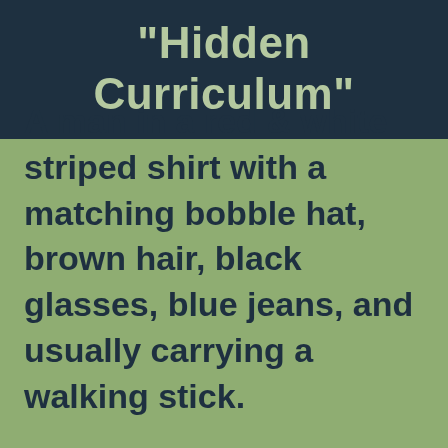"Hidden Curriculum"
A man in a red & white striped shirt with a matching bobble hat, brown hair, black glasses, blue jeans, and usually carrying a walking stick.